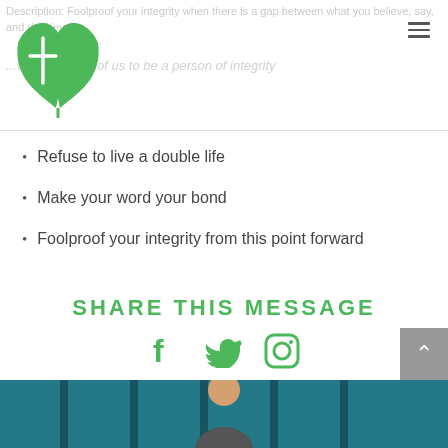[Figure (logo): Green leaf/plant logo with cross symbol]
Description: Foolproof your integrity when there is a gap between what you believe, say, and do. Key...
...wanting each of us to be a person of integrity
Refuse to live a double life
Make your word your bond
Foolproof your integrity from this point forward
SHARE THIS MESSAGE
[Figure (illustration): Social media icons: Facebook, Twitter, Instagram in green]
[Figure (photo): Photo of a person, bottom portion of page, teal/blue background]